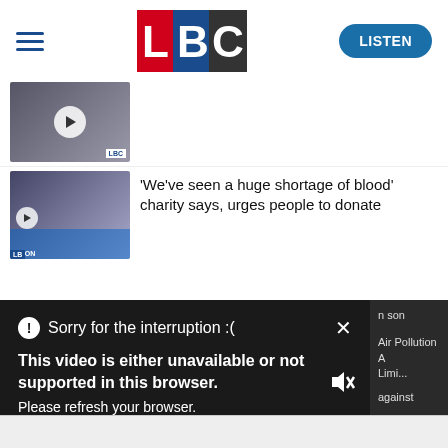[Figure (screenshot): LBC website header with hamburger menu, LBC logo, and LISTEN button]
[Figure (screenshot): Thumbnail image of a person with LBC microphone and play button overlay]
[Figure (screenshot): News article thumbnail with man in studio and text: 'We've seen a huge shortage of blood' charity says, urges people to donate]
'We've seen a huge shortage of blood' charity says, urges people to donate
[Figure (screenshot): Video error overlay on dark background showing: Sorry for the interruption :( × | This video is either unavailable or not supported in this browser. Please refresh your browser. Error Code: MEDIA ERR SRC NOT SUPPORTED]